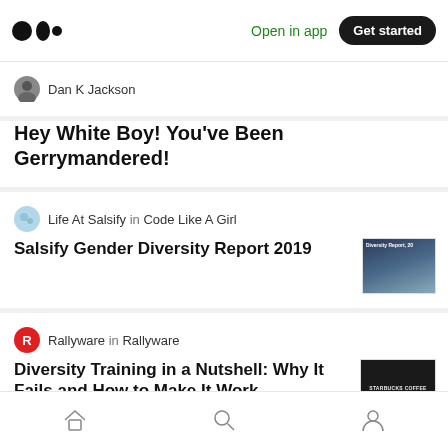Medium app header with logo, Open in app, Get started button
Dan K Jackson
Hey White Boy! You've Been Gerrymandered!
Life At Salsify in Code Like A Girl
Salsify Gender Diversity Report 2019
Rallyware in Rallyware
Diversity Training in a Nutshell: Why It Fails and How to Make It Work
Barbara Castleton, M.A.
Bottom navigation: Home, Search, Profile